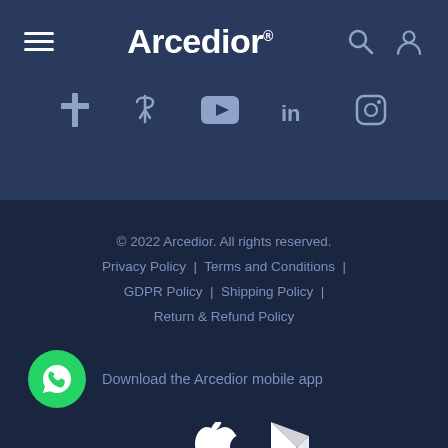[Figure (screenshot): Arcedior website header with hamburger menu, logo, search and user icons, and social media icons (Facebook, Pinterest/Trident, YouTube, LinkedIn, Instagram)]
© 2022 Arcedior. All rights reserved.
Privacy Policy | Terms and Conditions | GDPR Policy | Shipping Policy | Return & Refund Policy
Download the Arcedior mobile app
[Figure (logo): WhatsApp icon, Apple App Store icon, Google Play Store icon, chat bubble icon, scroll-to-top button]